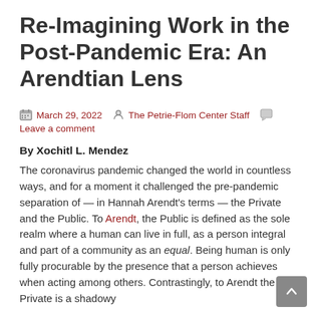Re-Imagining Work in the Post-Pandemic Era: An Arendtian Lens
March 29, 2022   The Petrie-Flom Center Staff   Leave a comment
By Xochitl L. Mendez
The coronavirus pandemic changed the world in countless ways, and for a moment it challenged the pre-pandemic separation of — in Hannah Arendt's terms — the Private and the Public. To Arendt, the Public is defined as the sole realm where a human can live in full, as a person integral and part of a community as an equal. Being human is only fully procurable by the presence that a person achieves when acting among others. Contrastingly, to Arendt the Private is a shadowy